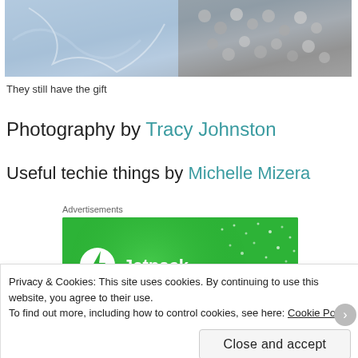[Figure (photo): Top portion of a composite photo showing abstract/artistic imagery on the left and metallic mechanical parts (ball bearings or similar) on the right]
They still have the gift
Photography by Tracy Johnston
Useful techie things by Michelle Mizera
Advertisements
[Figure (logo): Jetpack advertisement banner with green background, white circular lightning bolt logo, and 'Jetpack' text in white]
Privacy & Cookies: This site uses cookies. By continuing to use this website, you agree to their use.
To find out more, including how to control cookies, see here: Cookie Policy
Close and accept